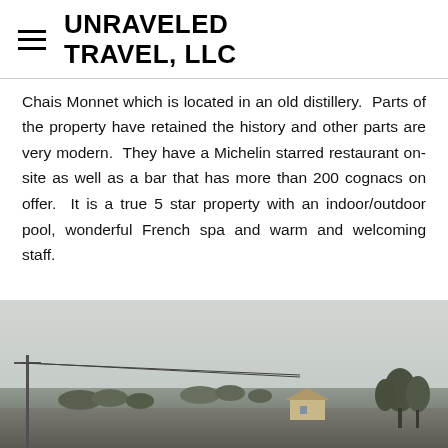UNRAVELED TRAVEL, LLC
Chais Monnet which is located in an old distillery.  Parts of the property have retained the history and other parts are very modern.  They have a Michelin starred restaurant on-site as well as a bar that has more than 200 cognacs on offer.  It is a true 5 star property with an indoor/outdoor pool, wonderful French spa and warm and welcoming staff.
[Figure (photo): Exterior landscape photo showing a wide flat countryside scene with overcast grey sky, a utility pole and wires on the left, trees on the right, and a small building with a peaked roof in the mid-distance.]